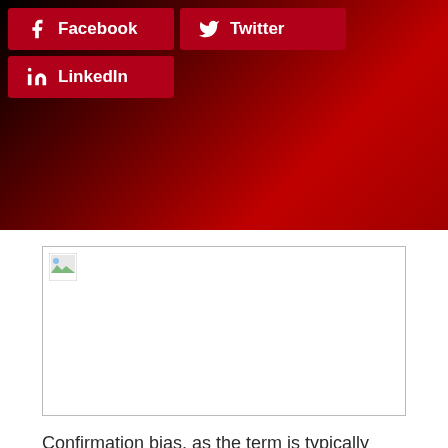[Figure (other): Social media share buttons: Facebook, Twitter, LinkedIn on dark red gradient background]
[Figure (other): Broken image placeholder with small icon in top-left corner, inside a bordered rectangle]
Confirmation bias, as the term is typically used in the psychological literature, connotes the seeking or interpreting of evidence in ways that